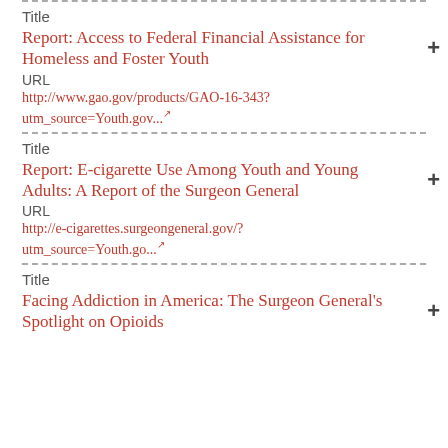Title
Report: Access to Federal Financial Assistance for Homeless and Foster Youth
URL
http://www.gao.gov/products/GAO-16-343?utm_source=Youth.gov...
Title
Report: E-cigarette Use Among Youth and Young Adults: A Report of the Surgeon General
URL
http://e-cigarettes.surgeongeneral.gov/?utm_source=Youth.go...
Title
Facing Addiction in America: The Surgeon General's Spotlight on Opioids